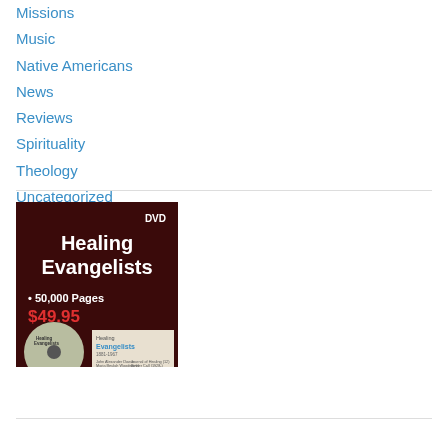Missions
Music
Native Americans
News
Reviews
Spirituality
Theology
Uncategorized
[Figure (photo): DVD advertisement for 'Healing Evangelists' DVD with text '50,000 Pages $49.95', showing a disc and a book cover]